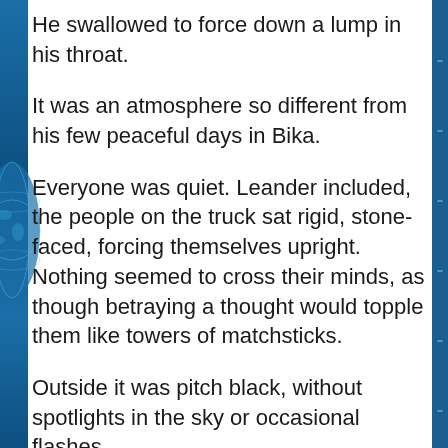He swallowed to force down a lump in his throat.
It was an atmosphere so different from his few peaceful days in Bika.
Everyone was quiet. Leander included, the people on the truck sat rigid, stone-faced, forcing themselves upright. Nothing seemed to cross their minds, as though betraying a thought would topple them like towers of matchsticks.
Outside it was pitch black, without spotlights in the sky or occasional flashes